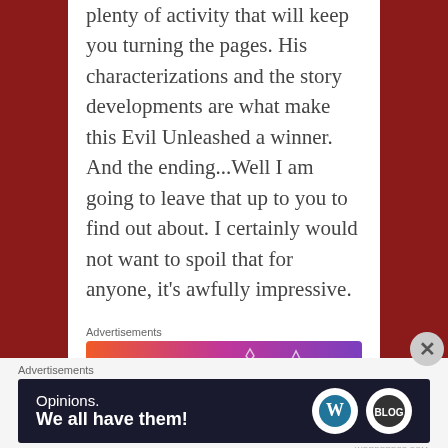plenty of activity that will keep you turning the pages. His characterizations and the story developments are what make this Evil Unleashed a winner. And the ending...Well I am going to leave that up to you to find out about. I certainly would not want to spoil that for anyone, it's awfully impressive.
Advertisements
[Figure (illustration): Fandom advertisement banner with gradient orange-to-purple background, featuring a sailboat sticker, skull, dice, and other gaming/fandom icons with text 'FANDOM ON']
Advertisements
[Figure (illustration): WordPress advertisement with dark navy background reading 'Opinions. We all have them!' with WordPress and another logo on the right]